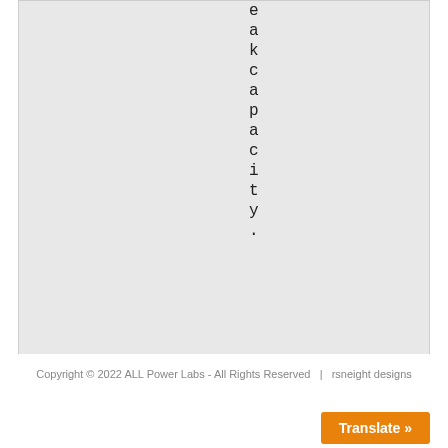eakcapacity.
Copyright © 2022 ALL Power Labs - All Rights Reserved  |  rsneight designs
Translate »